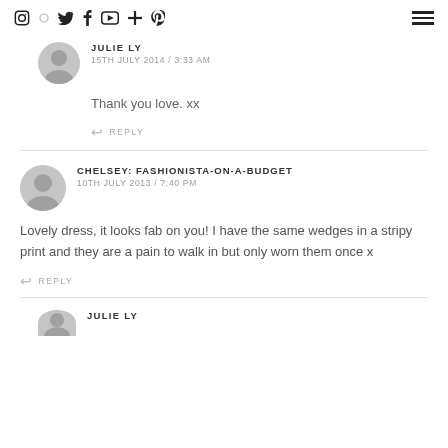Social media icons and hamburger menu
JULIE LY
15TH JULY 2014 / 3:33 AM
Thank you love. xx
↩ REPLY
CHELSEY: FASHIONISTA-ON-A-BUDGET
10TH JULY 2013 / 7:40 PM
Lovely dress, it looks fab on you! I have the same wedges in a stripy print and they are a pain to walk in but only worn them once x
↩ REPLY
JULIE LY